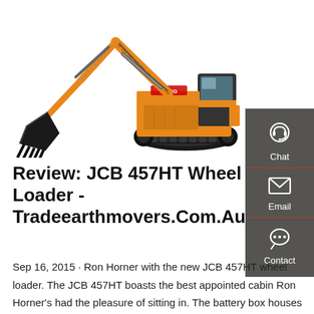[Figure (photo): Orange and black excavator/crawler machine on white background, XCMG brand, with large bucket arm extended to the left]
Review: JCB 457HT Wheel Loader - Tradeearthmovers.Com.Au
Sep 16, 2015 · Ron Horner with the new JCB 457HT wheel loader. The JCB 457HT boasts the best appointed cabin Ron Horner's had the pleasure of sitting in. The battery box houses the JCB 457HT loader's bonnet controls. The JCB 457HT